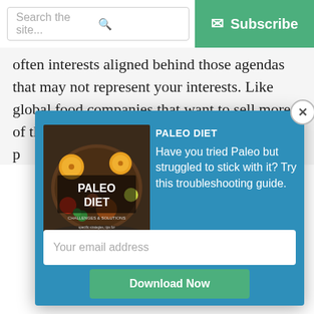Search the site... | Subscribe
often interests aligned behind those agendas that may not represent your interests. Like global food companies that want to sell more of their processed and refined p…
[Figure (screenshot): Modal popup with blue background showing a Paleo Diet book cover on the left, promotional text on the right reading 'PALEO DIET Have you tried Paleo but struggled to stick with it? Try this troubleshooting guide.', an email address input field, and a green Download Now button. A close (X) button is in the top-right corner of the modal.]
PALEO DIET
Have you tried Paleo but struggled to stick with it? Try this troubleshooting guide.
Your email address
Download Now